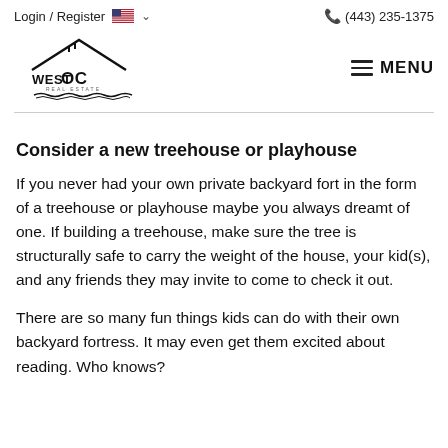Login / Register  (443) 235-1375
[Figure (logo): WestOC Real Estate logo with house/roof shape and wave lines]
Consider a new treehouse or playhouse
If you never had your own private backyard fort in the form of a treehouse or playhouse maybe you always dreamt of one. If building a treehouse, make sure the tree is structurally safe to carry the weight of the house, your kid(s), and any friends they may invite to come to check it out.
There are so many fun things kids can do with their own backyard fortress. It may even get them excited about reading. Who knows?